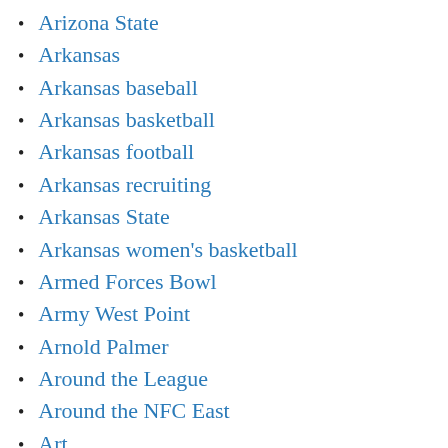Arizona State
Arkansas
Arkansas baseball
Arkansas basketball
Arkansas football
Arkansas recruiting
Arkansas State
Arkansas women's basketball
Armed Forces Bowl
Army West Point
Arnold Palmer
Around the League
Around the NFC East
Art
Art Rooney II
Article